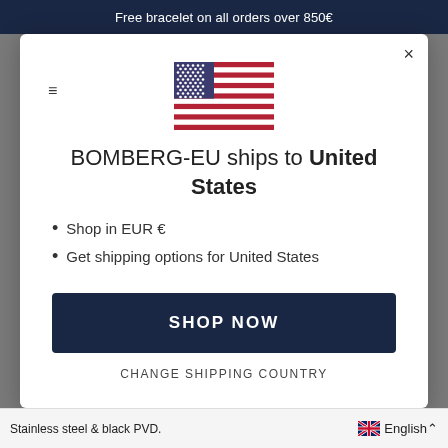Free bracelet on all orders over 850€
[Figure (illustration): US flag (stars and stripes)]
BOMBERG-EU ships to United States
Shop in EUR €
Get shipping options for United States
SHOP NOW
CHANGE SHIPPING COUNTRY
Stainless steel & black PVD.  English